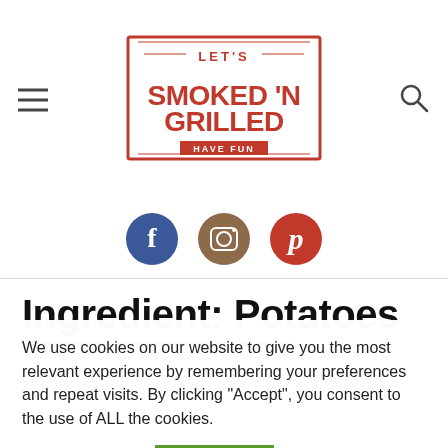Let's Smoked 'N Grilled Have Fun — website header with logo, hamburger menu, and search icon
[Figure (logo): Let's Smoked 'N Grilled Have Fun logo in red with rectangular border]
[Figure (illustration): Social media icons: Facebook (blue circle with f), Instagram (tan/brown circle with camera), Pinterest (red circle with P)]
Ingredient: Potatoes
We use cookies on our website to give you the most relevant experience by remembering your preferences and repeat visits. By clicking "Accept", you consent to the use of ALL the cookies.
Cookie settings  ACCEPT